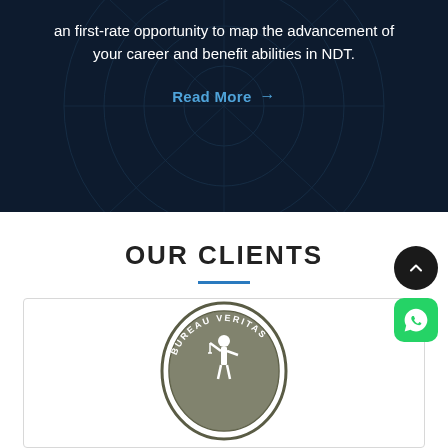an first-rate opportunity to map the advancement of your career and benefit abilities in NDT.
Read More →
OUR CLIENTS
[Figure (logo): Bureau Veritas oval logo with figure and text 'BUREAU VERITAS']